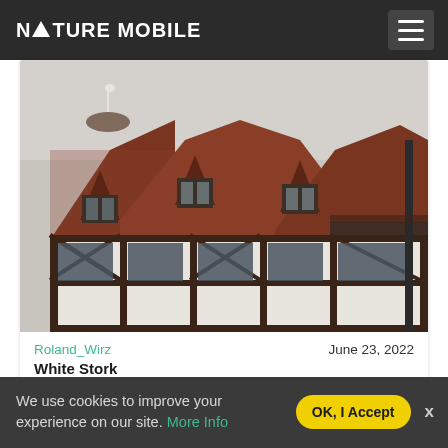NATURE MOBILE
[Figure (photo): Photograph of a traditional half-timbered European building with red/brown tiled roof, multiple dormer windows, and stork nest visible on chimney. Dark wooden frame structure with white plaster infill panels.]
Roland_Wirz   June 23, 2022
White Stork
We use cookies to improve your experience on our site. More Info
OK, I Accept